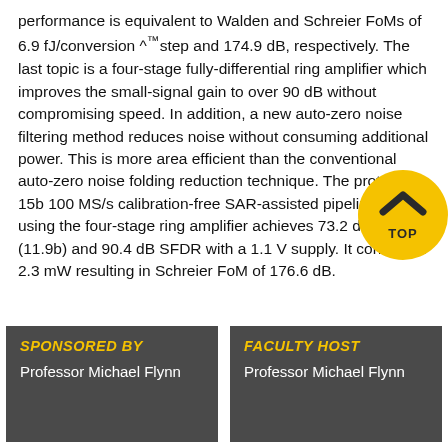performance is equivalent to Walden and Schreier FoMs of 6.9 fJ/conversion ^™step and 174.9 dB, respectively. The last topic is a four-stage fully-differential ring amplifier which improves the small-signal gain to over 90 dB without compromising speed. In addition, a new auto-zero noise filtering method reduces noise without consuming additional power. This is more area efficient than the conventional auto-zero noise folding reduction technique. The prototype 15b 100 MS/s calibration-free SAR-assisted pipeline ADC using the four-stage ring amplifier achieves 73.2 dB SNDR (11.9b) and 90.4 dB SFDR with a 1.1 V supply. It consumes 2.3 mW resulting in Schreier FoM of 176.6 dB.
[Figure (other): Yellow circular TOP navigation button with upward chevron arrow]
SPONSORED BY
Professor Michael Flynn
FACULTY HOST
Professor Michael Flynn